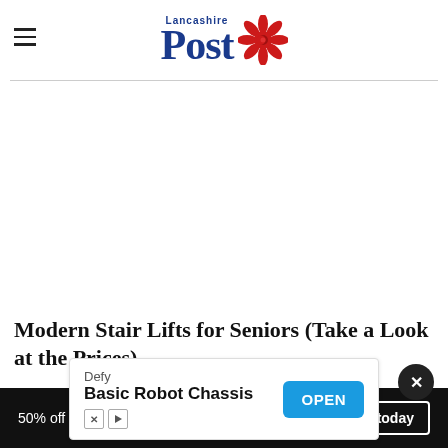Lancashire Post
[Figure (other): Empty advertisement space / white area between header and article title]
Modern Stair Lifts for Seniors (Take a Look at the Prices)
Stairlift
[Figure (other): Overlay advertisement banner: Defy - Basic Robot Chassis with OPEN button]
50% off annual subscriptions   Subscribe today